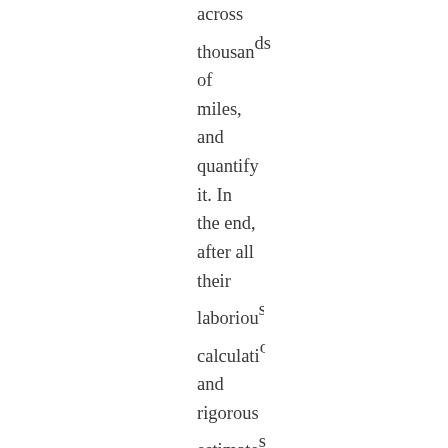across thousands of miles, and quantify it. In the end, after all their laborious calculations and rigorous estimates data, it seems they prove